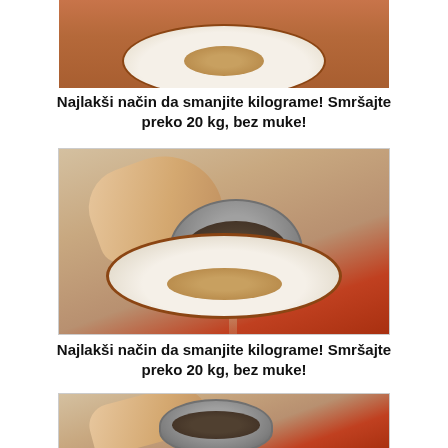[Figure (photo): Top portion of a photo showing a plate with liquid/tea and a strainer, on a red background]
Najlakši način da smanjite kilograme! Smršajte preko 20 kg, bez muke!
[Figure (photo): Full photo of a hand holding a tea strainer/sieve with dark substance over a white plate with liquid on a red tablecloth]
Najlakši način da smanjite kilograme! Smršajte preko 20 kg, bez muke!
[Figure (photo): Bottom cropped portion of the same photo of hand with strainer over plate]